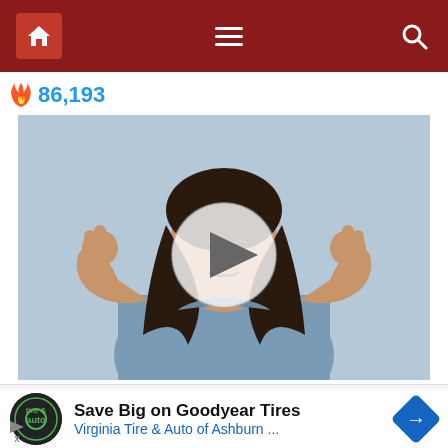Navigation bar with home, menu, and search icons
🔥 86,193
[Figure (photo): Woman with dark hair plugging her ears with fingers, eyes closed and grimacing, wearing a blue tank top against a light blue background. A play button overlay is centered on the image.]
ce Tinnitus By Doing This Once Daily!
Save Big on Goodyear Tires
Virginia Tire & Auto of Ashburn ...